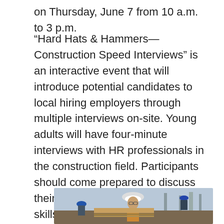on Thursday, June 7 from 10 a.m. to 3 p.m.
“Hard Hats & Hammers—Construction Speed Interviews” is an interactive event that will introduce potential candidates to local hiring employers through multiple interviews on-site. Young adults will have four-minute interviews with HR professionals in the construction field. Participants should come prepared to discuss their interests and transferrable skills. Following the event, interviewees will receive helpful feedback and potential follow-up opportunities. Lunch will also be provided for all registered employers and participants.
[Figure (photo): Photo of a construction worker wearing a white hard hat at a construction site, with other workers visible in the background.]